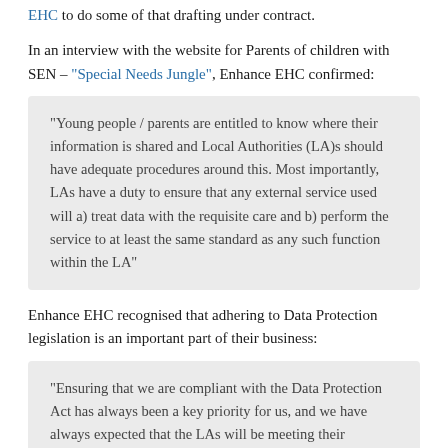EHC to do some of that drafting under contract.
In an interview with the website for Parents of children with SEN – "Special Needs Jungle", Enhance EHC confirmed:
"Young people / parents are entitled to know where their information is shared and Local Authorities (LA)s should have adequate procedures around this. Most importantly, LAs have a duty to ensure that any external service used will a) treat data with the requisite care and b) perform the service to at least the same standard as any such function within the LA"
Enhance EHC recognised that adhering to Data Protection legislation is an important part of their business:
"Ensuring that we are compliant with the Data Protection Act has always been a key priority for us, and we have always expected that the LAs will be meeting their obligations likewise."